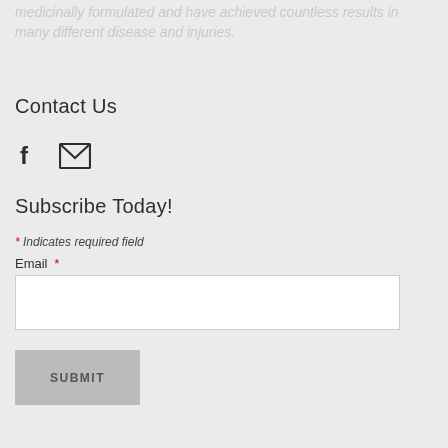medicinally formulated and have achieved countless results in many different disease and injuries.
Contact Us
[Figure (illustration): Social media icons: Facebook (f) and email envelope icons]
Subscribe Today!
* Indicates required field
Email *
SUBMIT